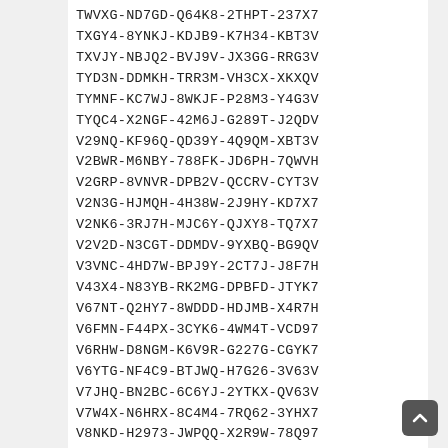TWVXG-ND7GD-Q64K8-2THPT-237X7
TXGY4-8YNKJ-KDJB9-K7H34-KBT3V
TXVJY-NBJQ2-BVJ9V-JX3GG-RRG3V
TYD3N-DDMKH-TRR3M-VH3CX-XKXQV
TYMNF-KC7WJ-8WKJF-P28M3-Y4G3V
TYQC4-X2NGF-42M6J-G289T-J2QDV
V29NQ-KF96Q-QD39Y-4Q9QM-XBT3V
V2BWR-M6NBY-788FK-JD6PH-7QWVH
V2GRP-8VNVR-DPB2V-QCCRV-CYT3V
V2N3G-HJMQH-4H38W-2J9HY-KD7X7
V2NK6-3RJ7H-MJC6Y-QJXY8-TQ7X7
V2V2D-N3CGT-DDMDV-9YXBQ-BG9QV
V3VNC-4HD7W-BPJ9Y-2CT7J-J8F7H
V43X4-N83YB-RK2MG-DPBFD-JTYK7
V67NT-Q2HY7-8WDDD-HDJMB-X4R7H
V6FMN-F44PX-3CYK6-4WM4T-VCD97
V6RHW-D8NGM-K6V9R-G227G-CGYK7
V6YTG-NF4C9-BTJWQ-H7G26-3V63V
V7JHQ-BN2BC-6C6YJ-2YTKX-QV63V
V7W4X-N6HRX-8C4M4-7RQ62-3YHX7
V8NKD-H2973-JWPQQ-X2R9W-78Q97
V96YN-64VTD-RPHV3-9Q38W-82QDV
V97RG-NW3V8-FK679-QVXDC-XTRH H